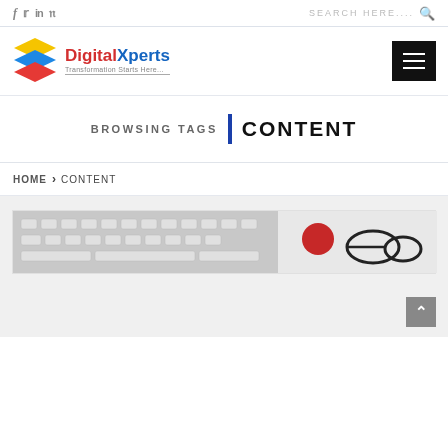f  t  in  P   SEARCH HERE....
[Figure (logo): DigitalXperts logo with stacked colored layers (yellow, blue, red) and tagline 'Transformation Starts Here...']
BROWSING TAGS | CONTENT
HOME > CONTENT
[Figure (photo): Partial image showing a white keyboard on the left and glasses with a red object on the right, on a white/light background.]